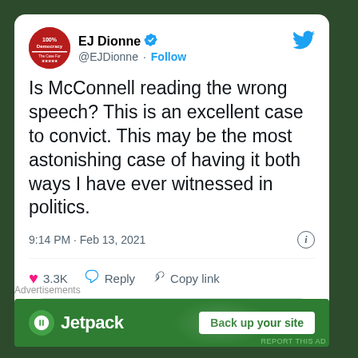[Figure (screenshot): Tweet by EJ Dionne (@EJDionne) with verified badge and book cover avatar. Tweet reads: 'Is McConnell reading the wrong speech? This is an excellent case to convict. This may be the most astonishing case of having it both ways I have ever witnessed in politics.' Posted 9:14 PM · Feb 13, 2021. Shows 3.3K likes, Reply, Copy link actions, and Read 107 replies button.]
Is McConnell reading the wrong speech? This is an excellent case to convict. This may be the most astonishing case of having it both ways I have ever witnessed in politics.
9:14 PM · Feb 13, 2021
3.3K  Reply  Copy link
Read 107 replies
Advertisements
[Figure (other): Jetpack advertisement banner with green background showing Jetpack logo and 'Back up your site' button]